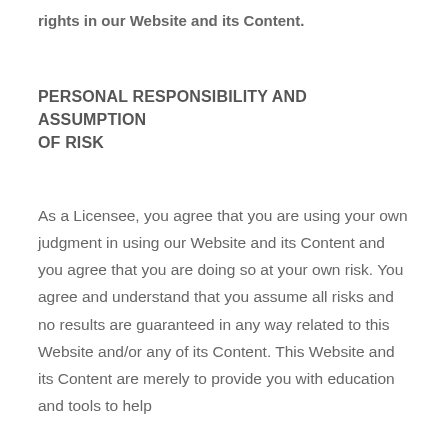rights in our Website and its Content.
PERSONAL RESPONSIBILITY AND ASSUMPTION OF RISK
As a Licensee, you agree that you are using your own judgment in using our Website and its Content and you agree that you are doing so at your own risk. You agree and understand that you assume all risks and no results are guaranteed in any way related to this Website and/or any of its Content. This Website and its Content are merely to provide you with education and tools to help